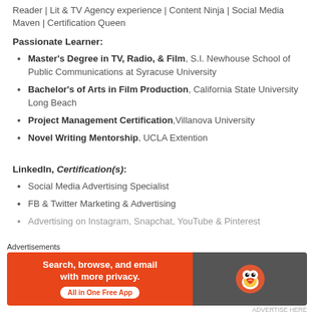Reader | Lit & TV Agency experience | Content Ninja | Social Media Maven | Certification Queen
Passionate Learner:
Master's Degree in TV, Radio, & Film, S.I. Newhouse School of Public Communications at Syracuse University
Bachelor's of Arts in Film Production, California State University Long Beach
Project Management Certification, Villanova University
Novel Writing Mentorship, UCLA Extention
LinkedIn, Certification(s):
Social Media Advertising Specialist
FB & Twitter Marketing & Advertising
Advertising on Instagram, Snapchat, YouTube & Pinterest
[Figure (screenshot): DuckDuckGo advertisement banner: orange left side with text 'Search, browse, and email with more privacy. All in One Free App', grey right side with DuckDuckGo duck logo]